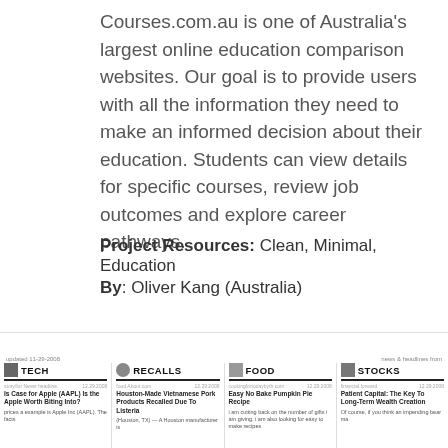Courses.com.au is one of Australia's largest online education comparison websites. Our goal is to provide users with all the information they need to make an informed decision about their education. Students can view details for specific courses, review job outcomes and explore career pathways.
Project Resources: Clean, Minimal, Education
By: Oliver Kang (Australia)
[Figure (other): A teal/blue rounded button with a chain-link icon and text 'Visit Courses.com.au']
[Figure (screenshot): Bottom strip showing a news aggregator screenshot with four columns: TECH, RECALLS, FOOD, STOCKS, each with a headline and small body text. Date shown: updated 11-29-2008. Topics/Conditions link top right.]